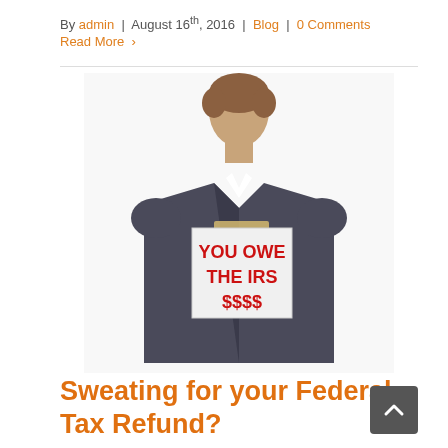By admin | August 16th, 2016 | Blog | 0 Comments
Read More >
[Figure (photo): A man seen from behind in a dark suit with a sign taped to his back reading 'YOU OWE THE IRS $$$$']
Sweating for your Federal Tax Refund?